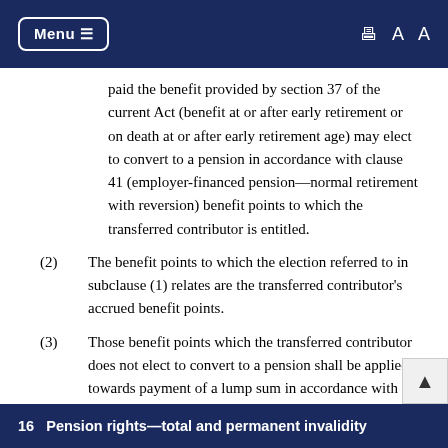Menu
paid the benefit provided by section 37 of the current Act (benefit at or after early retirement or on death at or after early retirement age) may elect to convert to a pension in accordance with clause 41 (employer-financed pension—normal retirement with reversion) benefit points to which the transferred contributor is entitled.
(2)  The benefit points to which the election referred to in subclause (1) relates are the transferred contributor's accrued benefit points.
(3)  Those benefit points which the transferred contributor does not elect to convert to a pension shall be applied towards payment of a lump sum in accordance with section 37 of the current Act.
16   Pension rights—total and permanent invalidity